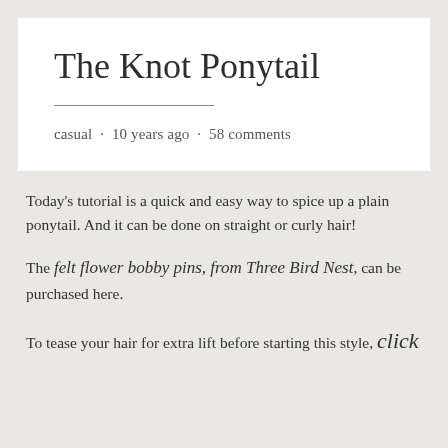The Knot Ponytail
casual · 10 years ago · 58 comments
Today's tutorial is a quick and easy way to spice up a plain ponytail. And it can be done on straight or curly hair!
The felt flower bobby pins, from Three Bird Nest, can be purchased here.
To tease your hair for extra lift before starting this style, click here.